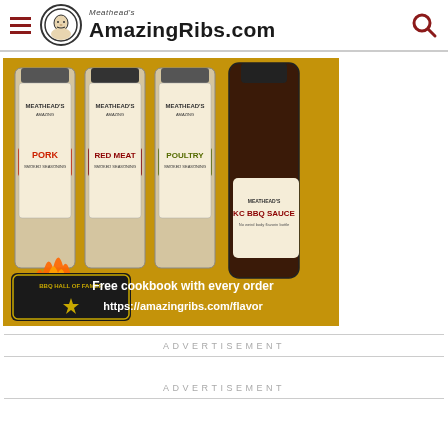Meathead's AmazingRibs.com
[Figure (photo): Advertisement image showing Meathead's Amazing BBQ seasoning products (Pork, Red Meat, Poultry rubs and KC BBQ Sauce bottles) on a golden background. Text reads: BBQ HALL OF FAMER, Free cookbook with every order, https://amazingribs.com/flavor]
ADVERTISEMENT
ADVERTISEMENT